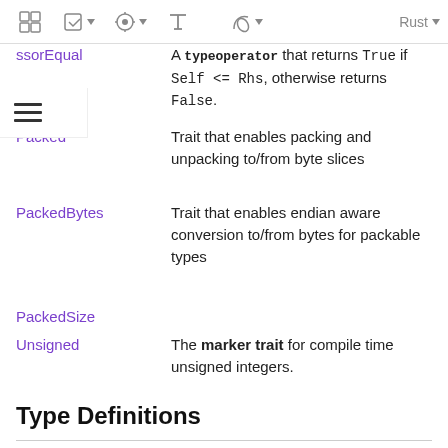Rust documentation navigation bar
IsLessOrEqual — A type operator that returns True if Self <= Rhs, otherwise returns False.
Packed — Trait that enables packing and unpacking to/from byte slices
PackedBytes — Trait that enables endian aware conversion to/from bytes for packable types
PackedSize
Unsigned — The marker trait for compile time unsigned integers.
Type Definitions
U0
U1
U2
U3
U4